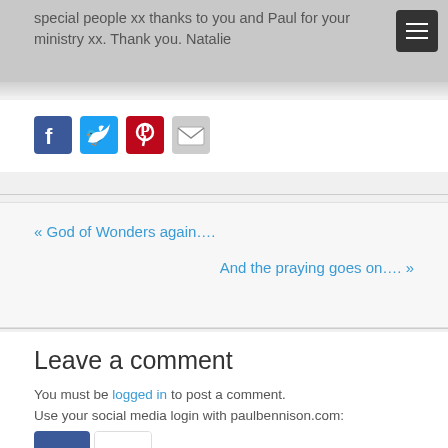special people xx thanks to you and Paul for your ministry xx. Thank you. Natalie
[Figure (other): Social share icons: Facebook, Twitter, Pinterest, Email]
« God of Wonders again….
And the praying goes on…. »
Leave a comment
You must be logged in to post a comment.
Use your social media login with paulbennison.com:
[Figure (other): Social login icons: Facebook and Google+]